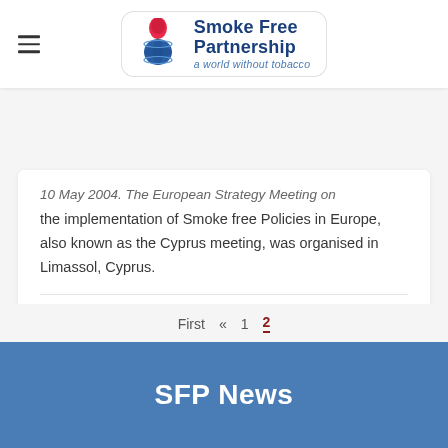Smoke Free Partnership — a world without tobacco
10 May 2004. The European Strategy Meeting on the implementation of Smoke free Policies in Europe, also known as the Cyprus meeting, was organised in Limassol, Cyprus.
Continue Reading →
First « 1 2
SFP News